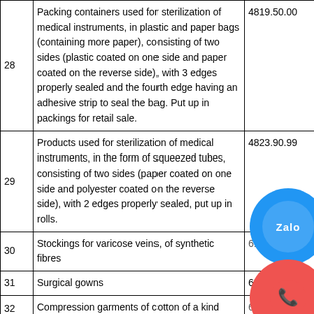| # | Description | HS Code |
| --- | --- | --- |
| 28 | Packing containers used for sterilization of medical instruments, in plastic and paper bags (containing more paper), consisting of two sides (plastic coated on one side and paper coated on the reverse side), with 3 edges properly sealed and the fourth edge having an adhesive strip to seal the bag. Put up in packings for retail sale. | 4819.50.00 |
| 29 | Products used for sterilization of medical instruments, in the form of squeezed tubes, consisting of two sides (paper coated on one side and polyester coated on the reverse side), with 2 edges properly sealed, put up in rolls. | 4823.90.99 |
| 30 | Stockings for varicose veins, of synthetic fibres | 6115... |
| 31 | Surgical gowns | 6211.43.10 |
| 32 | Compression garments of cotton of a kind used for the treatment of scar tissue and skin grafts | 6212... |
| 33 | Compression garments of other textile materials of a | 6212.90.91 |